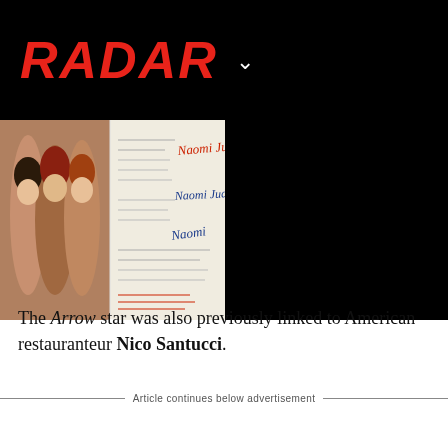RADAR
[Figure (photo): Left half: photo of three women at an event (Ashley Judd, Naomi Judd, Wynonna Judd). Right half: document with handwritten signatures in red and blue ink.]
The Arrow star was also previously linked to American restauranteur Nico Santucci.
Article continues below advertisement